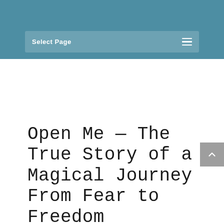Select Page
Open Me — The True Story of a Magical Journey From Fear to Freedom